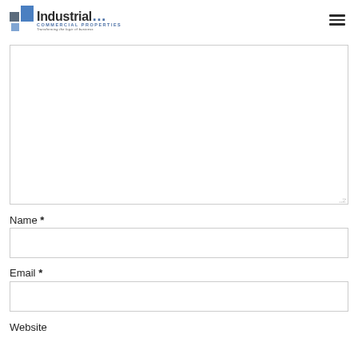Industrial Commercial Properties
[Figure (other): Large empty textarea form field with resize handle at bottom right]
Name *
[Figure (other): Name text input field]
Email *
[Figure (other): Email text input field]
Website